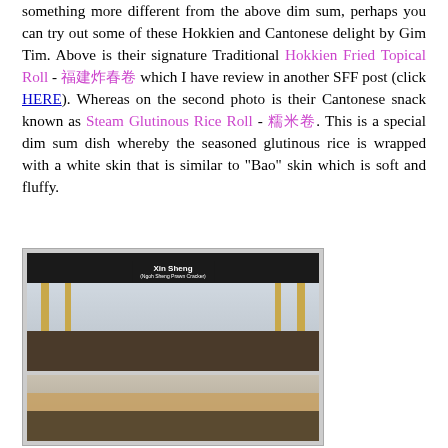something more different from the above dim sum, perhaps you can try out some of these Hokkien and Cantonese delight by Gim Tim. Above is their signature Traditional Hokkien Fried Topical Roll - 福建炸春卷 which I have review in another SFF post (click HERE). Whereas on the second photo is their Cantonese snack known as Steam Glutinous Rice Roll - 糯米卷. This is a special dim sum dish whereby the seasoned glutinous rice is wrapped with a white skin that is similar to "Bao" skin which is soft and fluffy.
[Figure (photo): Two stacked photos of a food stall named 'Xin Sheng (Ngoh Sheng Prawn Cracker)' at what appears to be a food festival or market. Top photo shows the stall with yellow pillars, a dark signboard, and food displays with vendors in background. Bottom photo shows people at a table with various food items.]